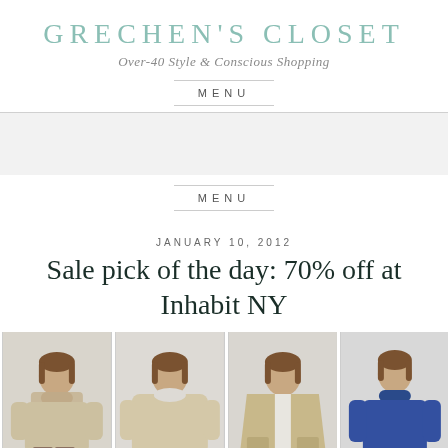GRECHEN'S CLOSET
Over-40 Style & Conscious Shopping
MENU
MENU
JANUARY 10, 2012
Sale pick of the day: 70% off at Inhabit NY
[Figure (photo): Four women modeling knitwear from Inhabit NY: tan turtleneck, tan wide sweater, tan open cardigan, blue turtleneck]